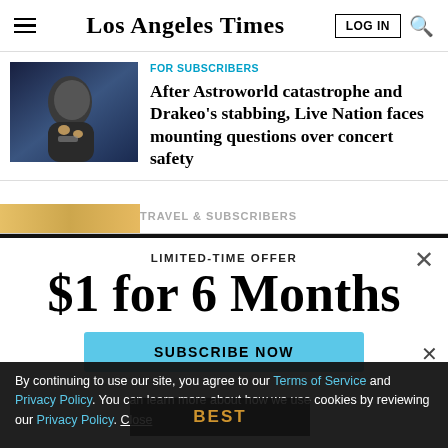Los Angeles Times
FOR SUBSCRIBERS
After Astroworld catastrophe and Drakeo's stabbing, Live Nation faces mounting questions over concert safety
LIMITED-TIME OFFER
$1 for 6 Months
SUBSCRIBE NOW
By continuing to use our site, you agree to our Terms of Service and Privacy Policy. You can learn more about how we use cookies by reviewing our Privacy Policy. Close